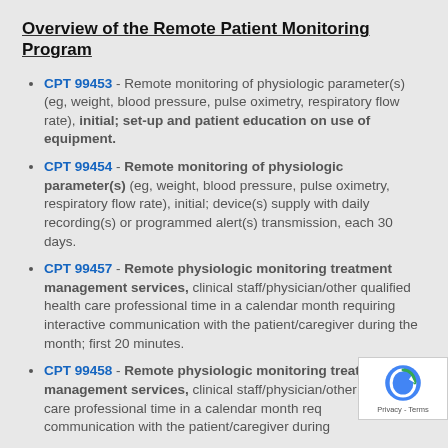Overview of the Remote Patient Monitoring Program
CPT 99453 - Remote monitoring of physiologic parameter(s) (eg, weight, blood pressure, pulse oximetry, respiratory flow rate), initial; set-up and patient education on use of equipment.
CPT 99454 - Remote monitoring of physiologic parameter(s) (eg, weight, blood pressure, pulse oximetry, respiratory flow rate), initial; device(s) supply with daily recording(s) or programmed alert(s) transmission, each 30 days.
CPT 99457 - Remote physiologic monitoring treatment management services, clinical staff/physician/other qualified health care professional time in a calendar month requiring interactive communication with the patient/caregiver during the month; first 20 minutes.
CPT 99458 - Remote physiologic monitoring treatment management services, clinical staff/physician/other health care professional time in a calendar month requiring interactive communication with the patient/caregiver during